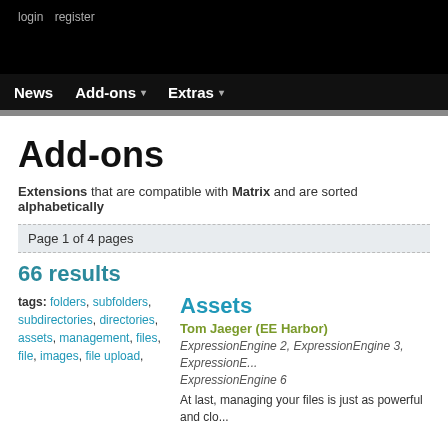login   register
News   Add-ons ▾   Extras ▾
Add-ons
Extensions that are compatible with Matrix and are sorted alphabetically
Page 1 of 4 pages
66 results
tags: folders, subfolders, subdirectories, directories, assets, management, files, file, images, file upload,
Assets
Tom Jaeger (EE Harbor)
ExpressionEngine 2, ExpressionEngine 3, ExpressionEngine 6
At last, managing your files is just as powerful and clo...